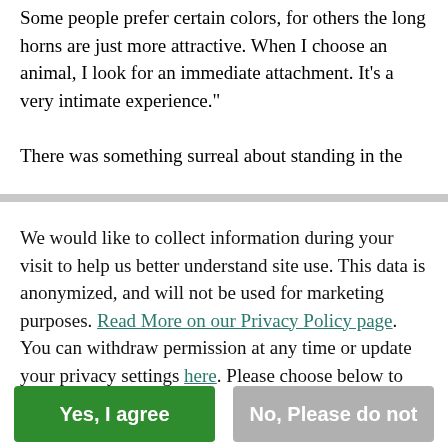Some people prefer certain colors, for others the long horns are just more attractive. When I choose an animal, I look for an immediate attachment. It’s a very intimate experience.”

There was something surreal about standing in the
We would like to collect information during your visit to help us better understand site use. This data is anonymized, and will not be used for marketing purposes. Read More on our Privacy Policy page. You can withdraw permission at any time or update your privacy settings here. Please choose below to continue.
Yes, I agree
No, Please do not